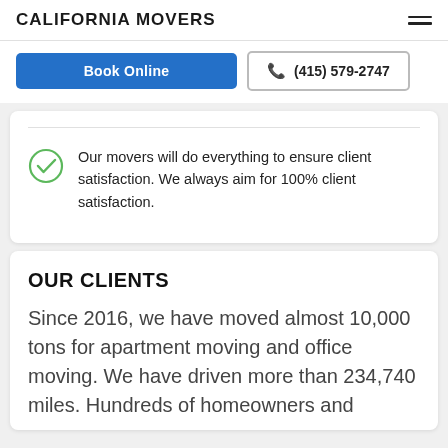CALIFORNIA MOVERS
Book Online
(415) 579-2747
Our movers will do everything to ensure client satisfaction. We always aim for 100% client satisfaction.
OUR CLIENTS
Since 2016, we have moved almost 10,000 tons for apartment moving and office moving. We have driven more than 234,740 miles. Hundreds of homeowners and